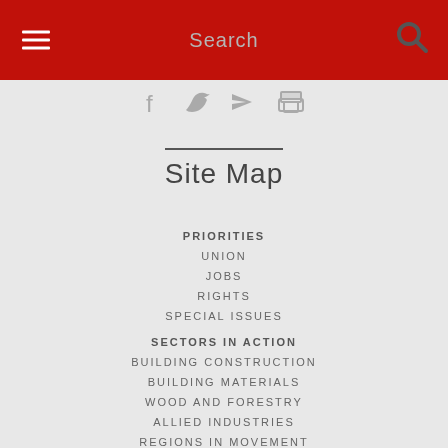Search
[Figure (other): Social share icons: Facebook, Twitter, email/send, print]
Site Map
PRIORITIES
UNION
JOBS
RIGHTS
SPECIAL ISSUES
SECTORS IN ACTION
BUILDING CONSTRUCTION
BUILDING MATERIALS
WOOD AND FORESTRY
ALLIED INDUSTRIES
REGIONS IN MOVEMENT
ACT NOW
CAMPAIGNS